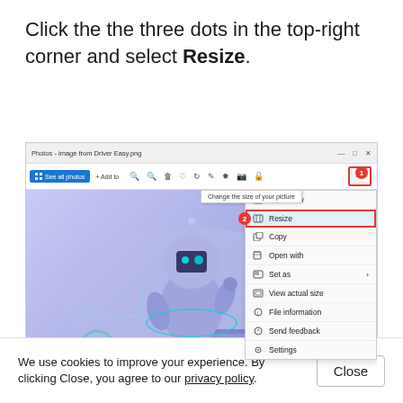Click the the three dots in the top-right corner and select Resize.
[Figure (screenshot): Windows Photos app showing a robot image with a context menu open. The three-dots button is highlighted with a red circle labeled 1. The Resize menu item is highlighted with a red border and labeled 2. A tooltip reads 'Change the size of your picture'. The context menu shows: Slideshow, Resize, Copy, Open with, Set as, View actual size, File information, Send feedback, Settings.]
We use cookies to improve your experience. By clicking Close, you agree to our privacy policy.